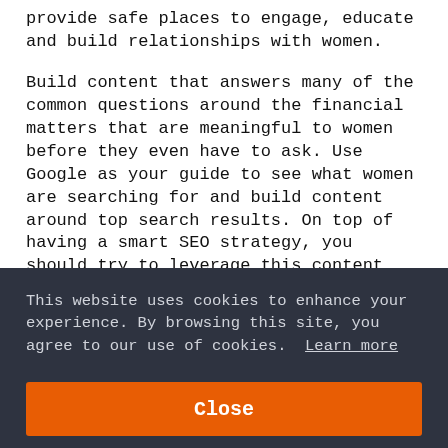provide safe places to engage, educate and build relationships with women.
Build content that answers many of the common questions around the financial matters that are meaningful to women before they even have to ask. Use Google as your guide to see what women are searching for and build content around top search results. On top of having a smart SEO strategy, you should try to leverage this content across as many channels as you can – Facebook, Twitter, YouTube, and email. Pinterest is a particularly intriguing
This website uses cookies to enhance your experience. By browsing this site, you agree to our use of cookies.  Learn more
Close